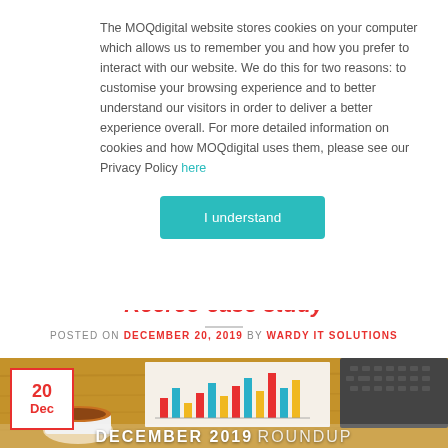The MOQdigital website stores cookies on your computer which allows us to remember you and how you prefer to interact with our website. We do this for two reasons: to customise your browsing experience and to better understand our visitors in order to deliver a better experience overall. For more detailed information on cookies and how MOQdigital uses them, please see our Privacy Policy here
[Figure (other): Teal/cyan 'I understand' button for cookie consent]
Reereo case study
POSTED ON DECEMBER 20, 2019 BY WARDY IT SOLUTIONS
[Figure (photo): Featured image showing a desk with coffee cup, bar chart printout, and laptop keyboard. Date badge showing 20 Dec in red border. Bottom text reads DECEMBER 2019 ROUNDUP]